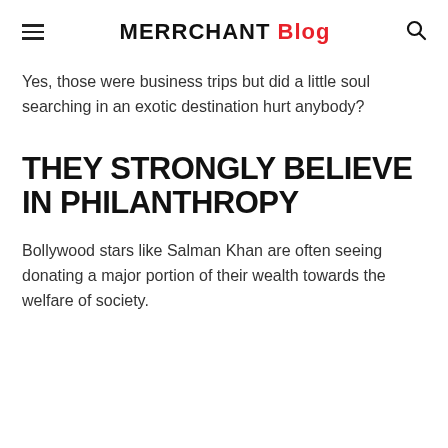MERRCHANT Blog
Yes, those were business trips but did a little soul searching in an exotic destination hurt anybody?
THEY STRONGLY BELIEVE IN PHILANTHROPY
Bollywood stars like Salman Khan are often seeing donating a major portion of their wealth towards the welfare of society.